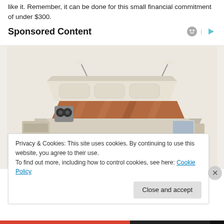like it. Remember, it can be done for the small financial commitment of under $300.
Sponsored Content
[Figure (photo): A luxurious multi-functional bed with built-in speakers, storage drawers, adjustable headrests, reading lamps, a reclining massage chair attachment, and a laptop on the side.]
Privacy & Cookies: This site uses cookies. By continuing to use this website, you agree to their use.
To find out more, including how to control cookies, see here: Cookie Policy
Close and accept